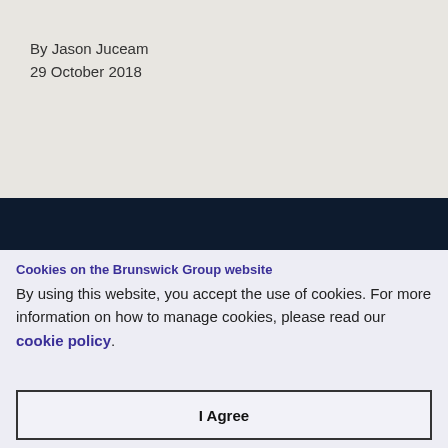By Jason Juceam
29 October 2018
Cookies on the Brunswick Group website
By using this website, you accept the use of cookies. For more information on how to manage cookies, please read our cookie policy.
I Agree